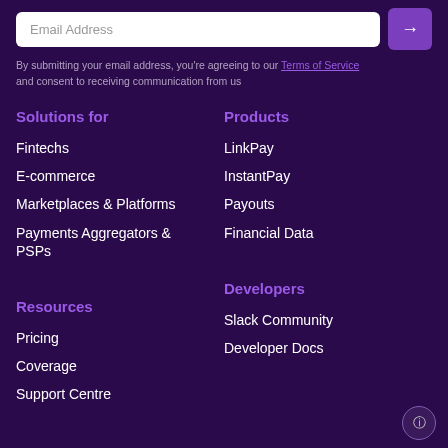Email Address
By submitting your email address, you're agreeing to our Terms of Service and consent to receiving communication from us
Solutions for
Fintechs
E-commerce
Marketplaces & Platforms
Payments Aggregators & PSPs
Products
LinkPay
InstantPay
Payouts
Financial Data
Resources
Pricing
Coverage
Support Centre
Developers
Slack Community
Developer Docs